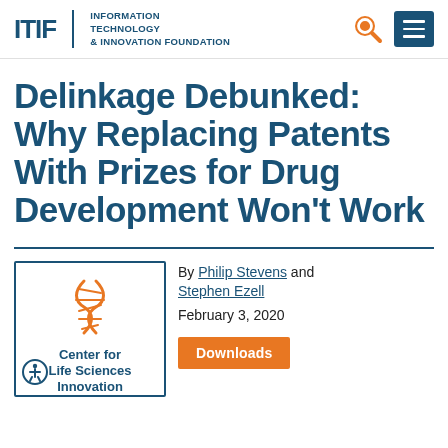ITIF | INFORMATION TECHNOLOGY & INNOVATION FOUNDATION
Delinkage Debunked: Why Replacing Patents With Prizes for Drug Development Won't Work
By Philip Stevens and Stephen Ezell
February 3, 2020
[Figure (logo): Center for Life Sciences Innovation logo with orange DNA helix graphic and teal border]
Downloads